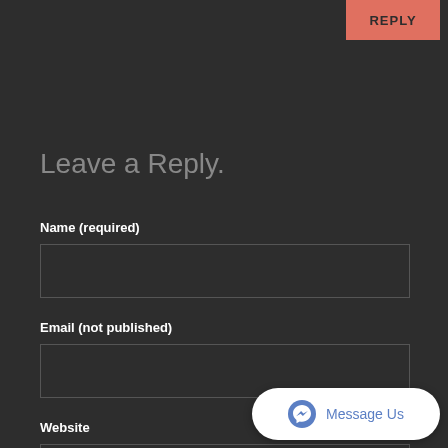REPLY
Leave a Reply.
Name (required)
Email (not published)
Website
[Figure (screenshot): Facebook Messenger 'Message Us' chat widget button in bottom right corner]